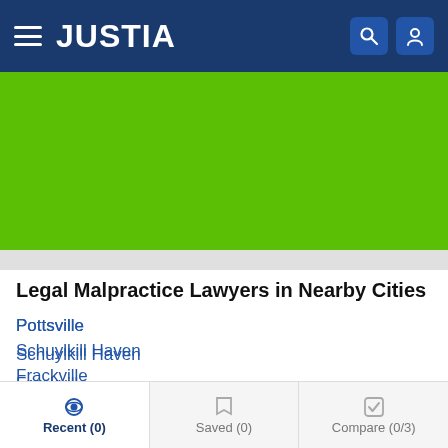JUSTIA
[Figure (screenshot): Green banner advertisement area]
Legal Malpractice Lawyers in Nearby Cities
Pottsville
Schuylkill Haven
Frackville
Ashland
Shenandoah
Mahanoy City
Recent (0)   Saved (0)   Compare (0/3)